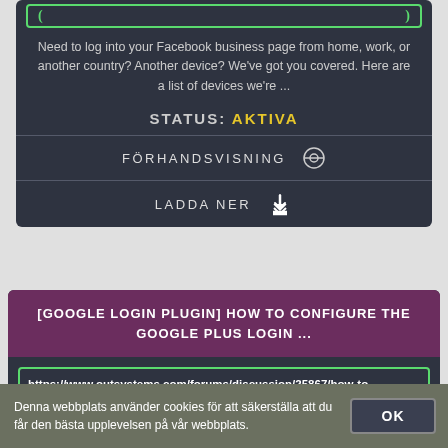Need to log into your Facebook business page from home, work, or another country? Another device? We've got you covered. Here are a list of devices we're ...
STATUS: AKTIVA
FÖRHANDSVISNING
LADDA NER
[GOOGLE LOGIN PLUGIN] HOW TO CONFIGURE THE GOOGLE PLUS LOGIN ...
https://www.outsystems.com/forums/discussion/25867/how-to-configure
With the Google Plus Login, you can integrate a Google login plugin in your application, easing the login process, and making it unnecessary to ...
Denna webbplats använder cookies för att säkerställa att du får den bästa upplevelsen på vår webbplats.